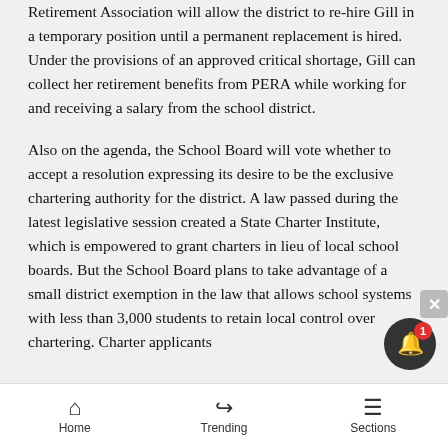Retirement Association will allow the district to re-hire Gill in a temporary position until a permanent replacement is hired. Under the provisions of an approved critical shortage, Gill can collect her retirement benefits from PERA while working for and receiving a salary from the school district.
Also on the agenda, the School Board will vote whether to accept a resolution expressing its desire to be the exclusive chartering authority for the district. A law passed during the latest legislative session created a State Charter Institute, which is empowered to grant charters in lieu of local school boards. But the School Board plans to take advantage of a small district exemption in the law that allows school systems with less than 3,000 students to retain local control over chartering. Charter applicants
Home | Trending | Sections